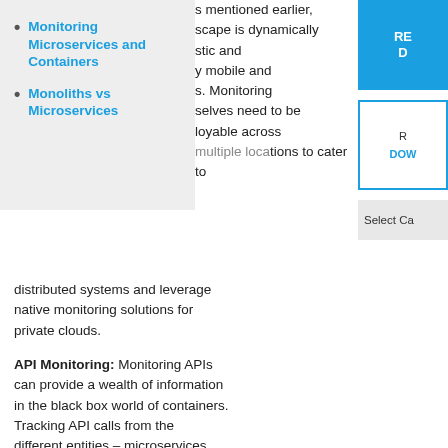Monitoring Microservices and Containers
Monoliths vs Microservices
s mentioned earlier, scape is dynamically stic and y mobile and s. Monitoring selves need to be loyable across multiple locations to cater to distributed systems and leverage native monitoring solutions for private clouds.
API Monitoring: Monitoring APIs can provide a wealth of information in the black box world of containers. Tracking API calls from the different entities – microservices, container solution, container orchestration platform, provisioning system, host kernel can help extract meaningful information and make sense of the fickle environment.
[Figure (other): Blue button with white text REG and D (partially visible)]
[Figure (other): White box with blue border, partially visible text including DOW]
Select Ca